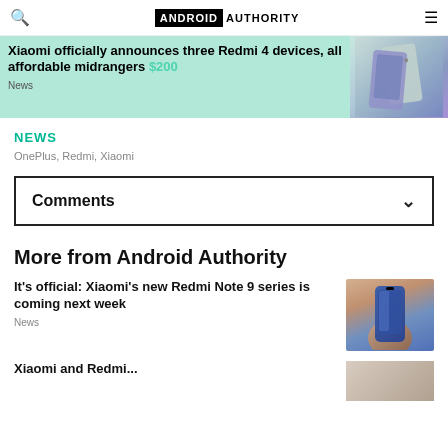ANDROID AUTHORITY
Xiaomi officially announces three Redmi 4 devices, all affordable midrangers
News
NEWS
OnePlus, Redmi, Xiaomi
Comments
More from Android Authority
It's official: Xiaomi's new Redmi Note 9 series is coming next week
News
Xiaomi and Redmi...